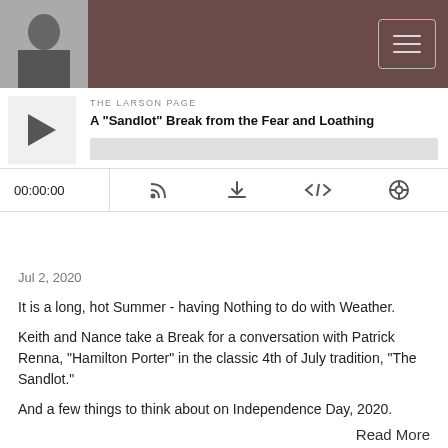THE LARSON PAGE (navigation header with avatar and menu)
[Figure (screenshot): Podcast player widget showing 'THE LARSON PAGE' label, title 'A "Sandlot" Break from the Fear and Loathing', play button, progress bar, time 00:00:00, and control icons for RSS, download, embed, and share.]
Jul 2, 2020
It is a long, hot Summer - having Nothing to do with Weather.
Keith and Nance take a Break for a conversation with Patrick Renna, "Hamilton Porter" in the classic 4th of July tradition, "The Sandlot."
And a few things to think about on Independence Day, 2020.
Read More
Fear, Loathing, The Revolutionary Jesus - And Willie and Kris